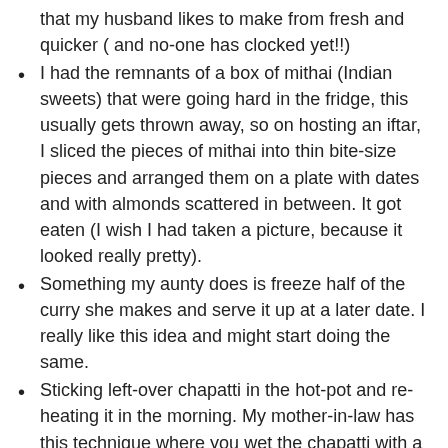that my husband likes to make from fresh and quicker ( and no-one has clocked yet!!)
I had the remnants of a box of mithai (Indian sweets) that were going hard in the fridge, this usually gets thrown away, so on hosting an iftar, I sliced the pieces of mithai into thin bite-size pieces and arranged them on a plate with dates and with almonds scattered in between. It got eaten (I wish I had taken a picture, because it looked really pretty).
Something my aunty does is freeze half of the curry she makes and serve it up at a later date. I really like this idea and might start doing the same.
Sticking left-over chapatti in the hot-pot and re-heating it in the morning. My mother-in-law has this technique where you wet the chapatti with a little water and re-heat it and it comes up soft.
Other things that have helped are: